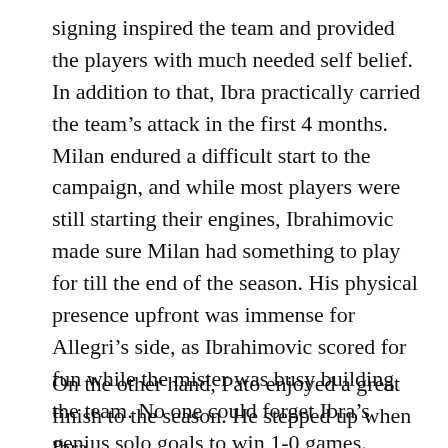signing inspired the team and provided the players with much needed self belief. In addition to that, Ibra practically carried the team’s attack in the first 4 months. Milan endured a difficult start to the campaign, and while most players were still starting their engines, Ibrahimovic made sure Milan had something to play for till the end of the season. His physical presence upfront was immense for Allegri’s side, as Ibrahimovic scored for fun while the mister was busy building the team. No one could forget Ibra’s genius solo goals to win 1-0 games.
On the other hand, Pato enjoyed a great finish to the season. He stepped up when Ibra